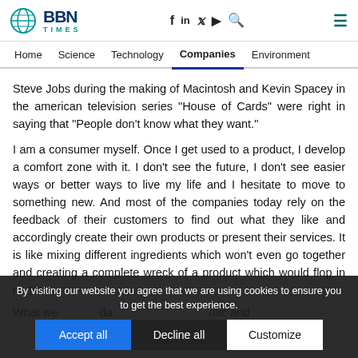BBN TIMES — Home | Science | Technology | Companies | Environment
Steve Jobs during the making of Macintosh and Kevin Spacey in the american television series "House of Cards" were right in saying that "People don't know what they want."
I am a consumer myself. Once I get used to a product, I develop a comfort zone with it. I don't see the future, I don't see easier ways or better ways to live my life and I hesitate to move to something new. And most of the companies today rely on the feedback of their customers to find out what they like and accordingly create their own products or present their services. It is like mixing different ingredients which won't even go together and creating a complete wreck of a product which would flop in no time.
By visiting our website you agree that we are using cookies to ensure you to get the best experience.
Accept all   Decline all   Customize
What we...  da...  mic and